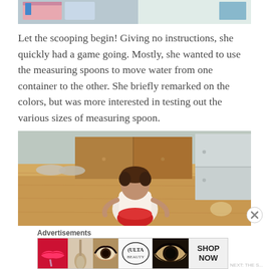[Figure (photo): Partial top photo showing colored containers with water, measuring spoons visible at top of page]
Let the scooping begin! Giving no instructions, she quickly had a game going. Mostly, she wanted to use the measuring spoons to move water from one container to the other. She briefly remarked on the colors, but was more interested in testing out the various sizes of measuring spoon.
[Figure (photo): A toddler playing on a kitchen floor with a red bowl, wooden floor visible, kitchen cabinets and stainless steel refrigerator in background]
Advertisements
[Figure (infographic): ULTA Beauty advertisement banner showing makeup imagery including lips, brush, eye makeup, ULTA logo, and a SHOP NOW call to action]